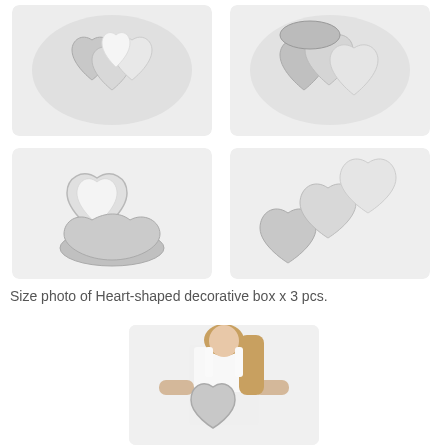[Figure (photo): Four product photos of heart-shaped decorative metallic boxes (silver/champagne color) shown in a 2x2 grid. Top-left: three heart-shaped boxes stacked. Top-right: three heart-shaped boxes from a different angle. Bottom-left: open heart-shaped box showing lid and base separately. Bottom-right: three heart-shaped boxes arranged diagonally.]
Size photo of Heart-shaped decorative box x 3 pcs.
[Figure (photo): A woman in a white lace top holding a large silver/gray heart-shaped decorative box in front of her body, showing the size of the product relative to a person.]